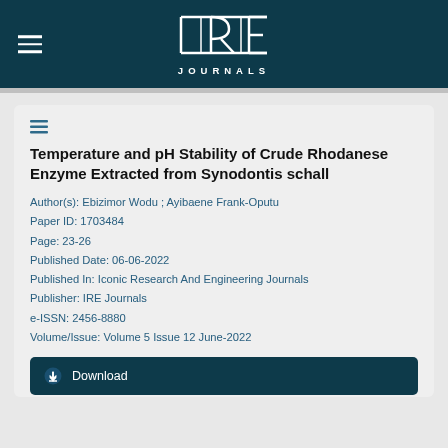[Figure (logo): IRE Journals logo with navigation hamburger menu on dark teal header bar]
Temperature and pH Stability of Crude Rhodanese Enzyme Extracted from Synodontis schall
Author(s): Ebizimor Wodu ; Ayibaene Frank-Oputu
Paper ID: 1703484
Page: 23-26
Published Date: 06-06-2022
Published In: Iconic Research And Engineering Journals
Publisher: IRE Journals
e-ISSN: 2456-8880
Volume/Issue: Volume 5 Issue 12 June-2022